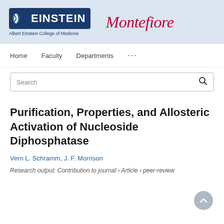[Figure (logo): Albert Einstein College of Medicine logo (blue badge with stylized E and EINSTEIN text) alongside Montefiore logo in italic crimson font, on a light blue header band]
Home   Faculty   Departments   ...
Search
Purification, Properties, and Allosteric Activation of Nucleoside Diphosphatase
Vern L. Schramm, J. F. Morrison
Research output: Contribution to journal › Article › peer-review